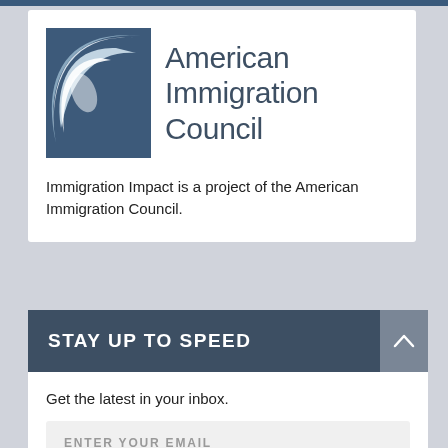[Figure (logo): American Immigration Council logo with blue square icon containing a swooping arc/crescent shape in white and light blue, next to text reading 'American Immigration Council' in dark blue-gray sans-serif font]
Immigration Impact is a project of the American Immigration Council.
STAY UP TO SPEED
Get the latest in your inbox.
ENTER YOUR EMAIL